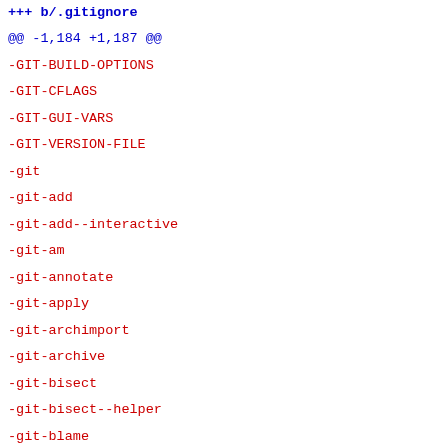+++ b/.gitignore
@@ -1,184 +1,187 @@
-GIT-BUILD-OPTIONS
-GIT-CFLAGS
-GIT-GUI-VARS
-GIT-VERSION-FILE
-git
-git-add
-git-add--interactive
-git-am
-git-annotate
-git-apply
-git-archimport
-git-archive
-git-bisect
-git-bisect--helper
-git-blame
-git-branch
-git-bundle
-git-cat-file
-git-check-attr
-git-check-ref-format
-git-checkout
-git-checkout-index
-git-cherry
-git-cherry-pick
-git-clean
-git-clone
-git-commit
-git-commit-tree